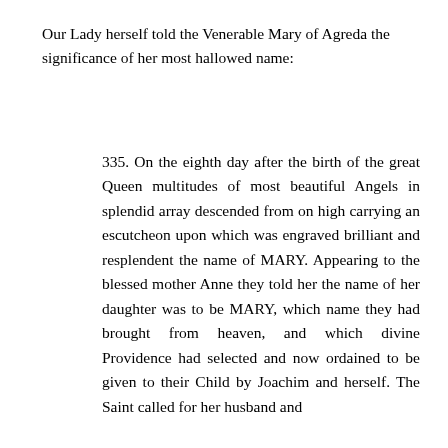Our Lady herself told the Venerable Mary of Agreda the significance of her most hallowed name:
335. On the eighth day after the birth of the great Queen multitudes of most beautiful Angels in splendid array descended from on high carrying an escutcheon upon which was engraved brilliant and resplendent the name of MARY. Appearing to the blessed mother Anne they told her the name of her daughter was to be MARY, which name they had brought from heaven, and which divine Providence had selected and now ordained to be given to their Child by Joachim and herself. The Saint called for her husband and